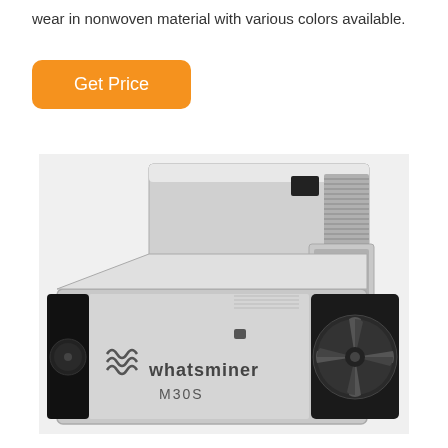wear in nonwoven material with various colors available.
[Figure (other): Orange 'Get Price' button]
[Figure (photo): Whatsminer M30S Bitcoin mining hardware unit with power supply, silver aluminum body with black cooling fans, showing the Whatsminer M30S logo on the front panel.]